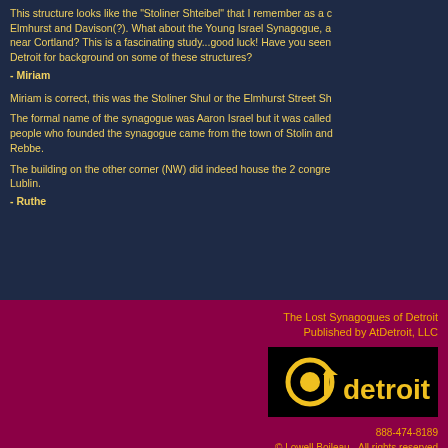This structure looks like the "Stoliner Shteibel" that I remember as a corner of Elmhurst and Davison(?). What about the Young Israel Synagogue, and one near Cortland? This is a fascinating study...good luck! Have you seen the JCC of Detroit for background on some of these structures?
- Miriam
Miriam is correct, this was the Stoliner Shul or the Elmhurst Street Shul.
The formal name of the synagogue was Aaron Israel but it was called the Stoliner Shul because the people who founded the synagogue came from the town of Stolin and followed the Stoliner Rebbe.
The building on the other corner (NW) did indeed house the 2 congregations from Lublin.
- Ruthe
The Lost Synagogues of Detroit
Published by AtDetroit, LLC
[Figure (logo): AtDetroit LLC logo - black rectangle with '@' symbol and 'detroit' text in yellow on dark background]
888-474-8189
© Lowell Boileau - All rights reserved